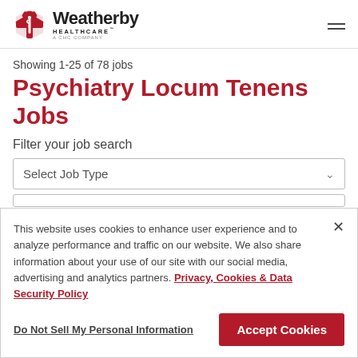Weatherby Healthcare - A CHC Company
Showing 1-25 of 78 jobs
Psychiatry Locum Tenens Jobs
Filter your job search
Select Job Type
This website uses cookies to enhance user experience and to analyze performance and traffic on our website. We also share information about your use of our site with our social media, advertising and analytics partners. Privacy, Cookies & Data Security Policy
Do Not Sell My Personal Information
Accept Cookies